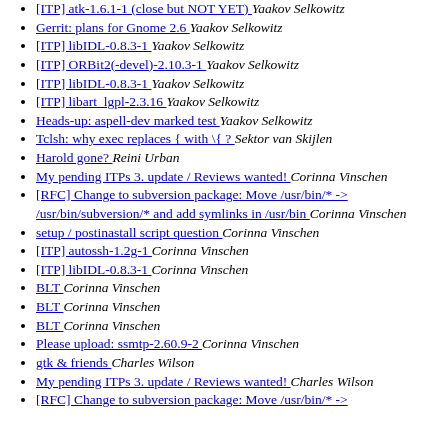[ITP] atk-1.6.1-1 (close but NOT YET)  Yaakov Selkowitz
Gerrit: plans for Gnome 2.6  Yaakov Selkowitz
[ITP] libIDL-0.8.3-1  Yaakov Selkowitz
[ITP] ORBit2(-devel)-2.10.3-1  Yaakov Selkowitz
[ITP] libIDL-0.8.3-1  Yaakov Selkowitz
[ITP] libart_lgpl-2.3.16  Yaakov Selkowitz
Heads-up: aspell-dev marked test  Yaakov Selkowitz
Tclsh: why exec replaces { with \{ ?  Sektor van Skijlen
Harold gone?  Reini Urban
My pending ITPs 3. update / Reviews wanted!  Corinna Vinschen
[RFC] Change to subversion package: Move /usr/bin/* -> /usr/bin/subversion/* and add symlinks in /usr/bin  Corinna Vinschen
setup / postinastall script question  Corinna Vinschen
[ITP] autossh-1.2g-1  Corinna Vinschen
[ITP] libIDL-0.8.3-1  Corinna Vinschen
BLT  Corinna Vinschen
BLT  Corinna Vinschen
BLT  Corinna Vinschen
Please upload: ssmtp-2.60.9-2  Corinna Vinschen
gtk & friends  Charles Wilson
My pending ITPs 3. update / Reviews wanted!  Charles Wilson
[RFC] Change to subversion package: Move /usr/bin/* ->